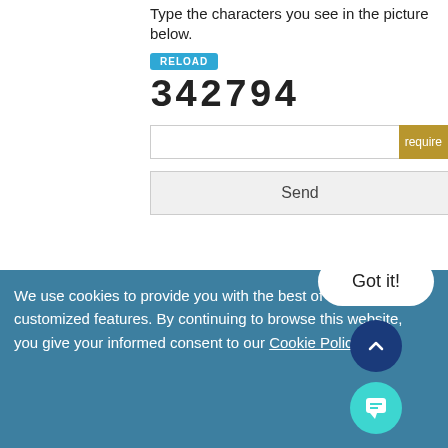Type the characters you see in the picture below.
RELOAD
342794
required
Send
RELATED NEWS
2022-08-31
US Air Force Funds ‘Quantum Dot’ Photovoltaic Window Project
[Figure (photo): Thumbnail photo of building exterior with colorful panels]
We use cookies to provide you with the best of services and customized features. By continuing to browse this website, you give your informed consent to our Cookie Policy.
Got it!